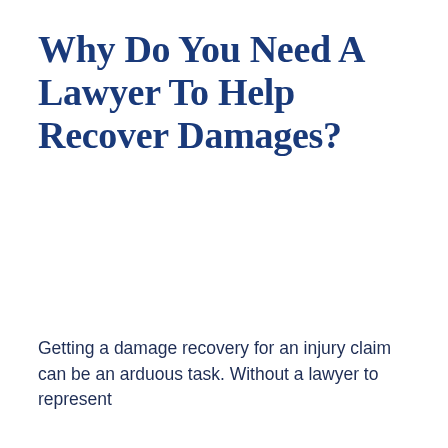Why Do You Need a Lawyer To Help Recover Damages?
Getting a damage recovery for an injury claim can be an arduous task. Without a lawyer to represent